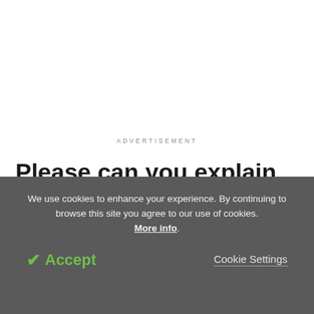ADVERTISEMENT
Please can you explain what is known about signal transducer and activator of transcription?
We use cookies to enhance your experience. By continuing to browse this site you agree to our use of cookies. More info.
✔ Accept
Cookie Settings